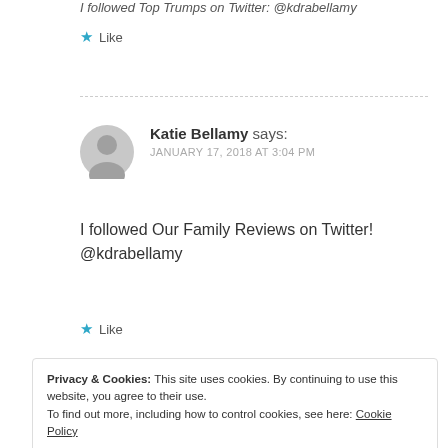I followed Top Trumps on Twitter: @kdrabellamy
★ Like
Katie Bellamy says: JANUARY 17, 2018 AT 3:04 PM
I followed Our Family Reviews on Twitter! @kdrabellamy
★ Like
Privacy & Cookies: This site uses cookies. By continuing to use this website, you agree to their use. To find out more, including how to control cookies, see here: Cookie Policy
Close and accept